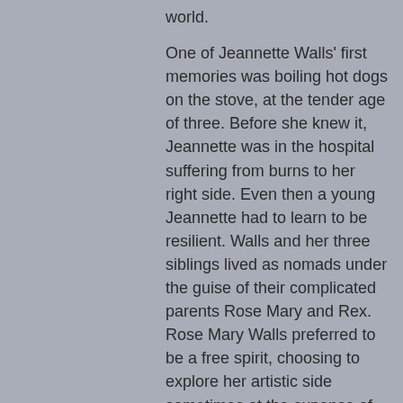world.

One of Jeannette Walls' first memories was boiling hot dogs on the stove, at the tender age of three. Before she knew it, Jeannette was in the hospital suffering from burns to her right side. Even then a young Jeannette had to learn to be resilient. Walls and her three siblings lived as nomads under the guise of their complicated parents Rose Mary and Rex. Rose Mary Walls preferred to be a free spirit, choosing to explore her artistic side sometimes at the expense of her starving children. Rex Walls was a dreamer who did all he could to get his children to live as fearless as he did. It worked when they were young, Jeannette was his biggest defender. He filled his children's heads with dreams of finding gold that would make the family rich. But alcohol would quickly change Rex Walls from a charismatic dreamer to a fall down drunk. As Jeannette, Lori, Brian and Maureen got older they learned to rely on each other. Brian and Jeannette often teamed together to combat the neighborhood bullies. When food was scarce the Walls